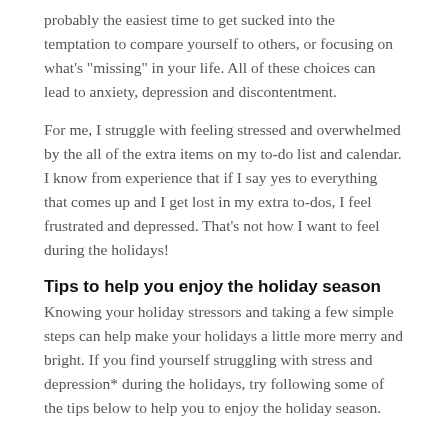probably the easiest time to get sucked into the temptation to compare yourself to others, or focusing on what’s “missing” in your life. All of these choices can lead to anxiety, depression and discontentment.
For me, I struggle with feeling stressed and overwhelmed by the all of the extra items on my to-do list and calendar. I know from experience that if I say yes to everything that comes up and I get lost in my extra to-dos, I feel frustrated and depressed. That’s not how I want to feel during the holidays!
Tips to help you enjoy the holiday season
Knowing your holiday stressors and taking a few simple steps can help make your holidays a little more merry and bright. If you find yourself struggling with stress and depression* during the holidays, try following some of the tips below to help you to enjoy the holiday season.